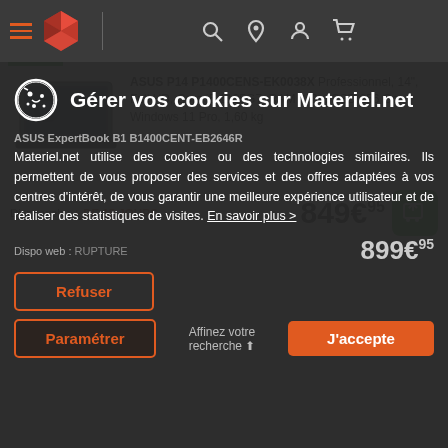Navigation bar with hamburger menu, Materiel.net logo, search, location, account, and cart icons
[Figure (photo): ASUS P14 laptop product photo]
ASUS P14 P1400CENS-EK0038X Professionnel, 14", Full HD, Core i5-1135G7, RAM 8 Go, SSD 256 Go, Windows 11 Pro, 1,60 kg
Dispo web : + DE 15 JOURS   849€95
Gérer vos cookies sur Materiel.net
Materiel.net utilise des cookies ou des technologies similaires. Ils permettent de vous proposer des services et des offres adaptées à vos centres d'intérêt, de vous garantir une meilleure expérience utilisateur et de réaliser des statistiques de visites. En savoir plus >
ASUS ExpertBook B1 B1400CENT-EB2646R
Dispo web : RUPTURE   899€95
Refuser
Paramétrer
J'accepte
Affinez votre recherche